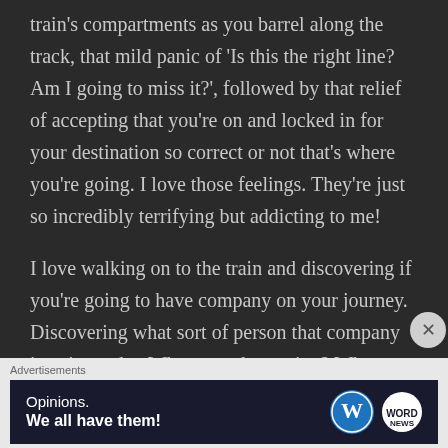train's compartments as you barrel along the track, that mild panic of 'Is this the right line? Am I going to miss it?', followed by that relief of accepting that you're on and locked in for your destination so correct or not that's where you're going. I love those feelings. They're just so incredibly terrifying but addicting to me!
I love walking on to the train and discovering if you're going to have company on your journey. Discovering what sort of person that company is going to be. Where are they going? Where did they come from? Will they join you in conversation or just plug some earbuds in resulting in both of you tuning the other out and just
Advertisements
[Figure (other): Advertisement banner with dark navy background showing 'Opinions. We all have them!' text with WordPress logo and another circular logo on the right.]